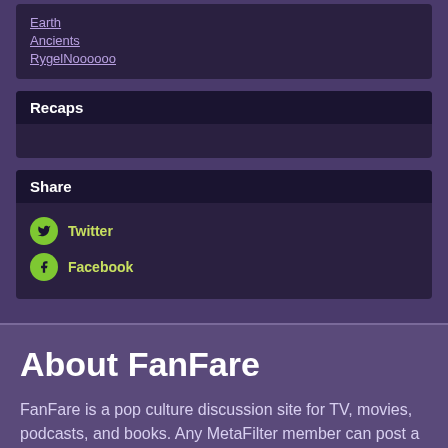Earth
Ancients
RygelNoooooo
Recaps
Share
Twitter
Facebook
About FanFare
FanFare is a pop culture discussion site for TV, movies, podcasts, and books. Any MetaFilter member can post a thread about a piece of media for other members to discuss